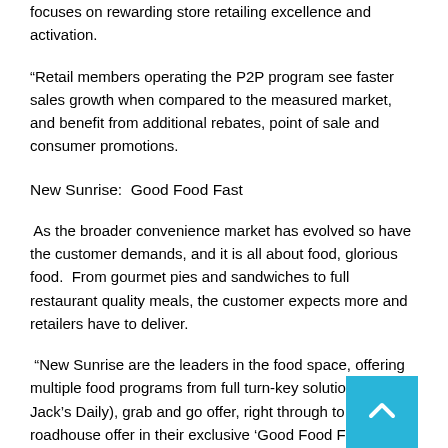focuses on rewarding store retailing excellence and activation.
“Retail members operating the P2P program see faster sales growth when compared to the measured market, and benefit from additional rebates, point of sale and consumer promotions.
New Sunrise:  Good Food Fast
As the broader convenience market has evolved so have the customer demands, and it is all about food, glorious food.  From gourmet pies and sandwiches to full restaurant quality meals, the customer expects more and retailers have to deliver.
“New Sunrise are the leaders in the food space, offering multiple food programs from full turn-key solutions (Jill & Jack’s Daily), grab and go offer, right through to a larger roadhouse offer in their exclusive ‘Good Food Fast’ program,